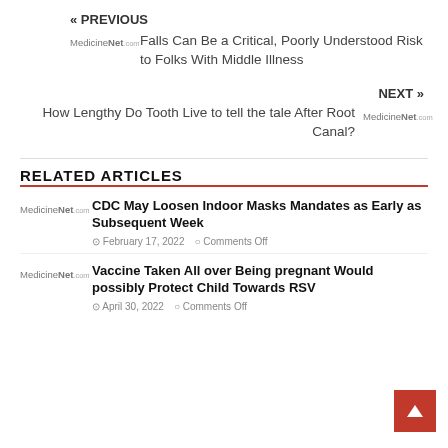« PREVIOUS
Falls Can Be a Critical, Poorly Understood Risk to Folks With Middle Illness
NEXT »
How Lengthy Do Tooth Live to tell the tale After Root Canal?
RELATED ARTICLES
CDC May Loosen Indoor Masks Mandates as Early as Subsequent Week
February 17, 2022   Comments Off
Vaccine Taken All over Being pregnant Would possibly Protect Child Towards RSV
April 30, 2022   Comments Off